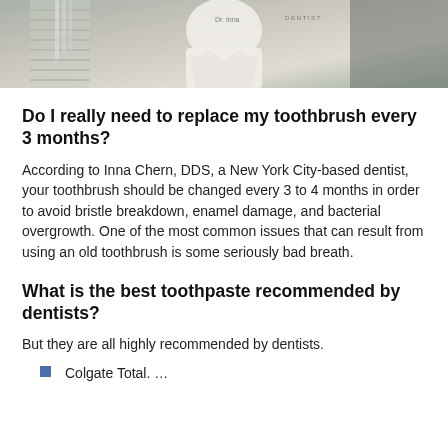[Figure (photo): Photo of a dentist in a white lab coat standing in a dental office]
Do I really need to replace my toothbrush every 3 months?
According to Inna Chern, DDS, a New York City-based dentist, your toothbrush should be changed every 3 to 4 months in order to avoid bristle breakdown, enamel damage, and bacterial overgrowth. One of the most common issues that can result from using an old toothbrush is some seriously bad breath.
What is the best toothpaste recommended by dentists?
But they are all highly recommended by dentists.
Colgate Total. …